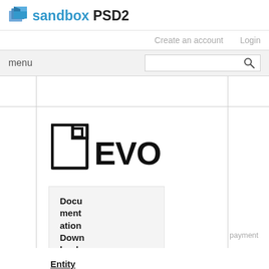[Figure (logo): Sandbox PSD2 logo with blue box icon and text]
sandbox PSD2
Create an account   Login
menu
[Figure (logo): EVO logo with stylized document/building icon]
Documentation Download
Entity
payment